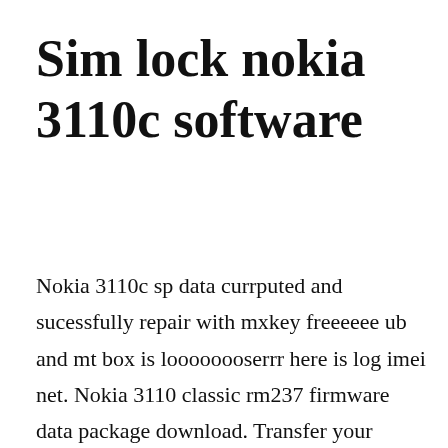Sim lock nokia 3110c software
Nokia 3110c sp data currputed and sucessfully repair with mxkey freeeeee ub and mt box is loooooooserrr here is log imei net. Nokia 3110 classic rm237 firmware data package download. Transfer your contacts from nokia 3110 classic into other phones or to an online. Get software updates for your phone, back up